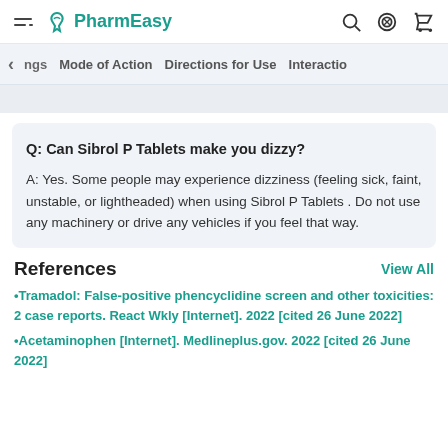PharmEasy
ngs  Mode of Action  Directions for Use  Interactio
Q: Can Sibrol P Tablets make you dizzy?
A: Yes. Some people may experience dizziness (feeling sick, faint, unstable, or lightheaded) when using Sibrol P Tablets . Do not use any machinery or drive any vehicles if you feel that way.
References
View All
•Tramadol: False-positive phencyclidine screen and other toxicities: 2 case reports. React Wkly [Internet]. 2022 [cited 26 June 2022]
•Acetaminophen [Internet]. Medlineplus.gov. 2022 [cited 26 June 2022]